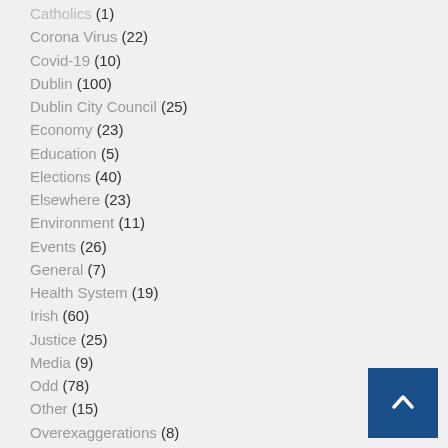Catholics (1)
Corona Virus (22)
Covid-19 (10)
Dublin (100)
Dublin City Council (25)
Economy (23)
Education (5)
Elections (40)
Elsewhere (23)
Environment (11)
Events (26)
General (7)
Health System (19)
Irish (60)
Justice (25)
Media (9)
Odd (78)
Other (15)
Overexaggerations (8)
Politics (96)
President (11)
Society (89)
Taoiseach (23)
Taxes (16)